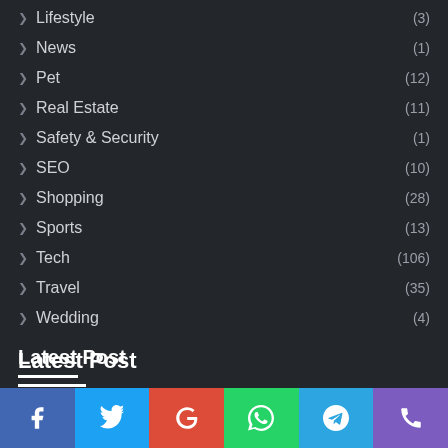Lifestyle (3)
News (1)
Pet (12)
Real Estate (11)
Safety & Security (1)
SEO (10)
Shopping (28)
Sports (13)
Tech (106)
Travel (35)
Wedding (4)
Latest Post
[Figure (other): Social media share bar with Facebook, Twitter, Google, WhatsApp, Telegram, and phone icons]